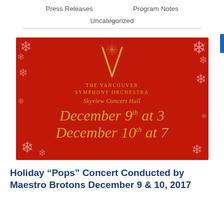Press Releases    Program Notes
Uncategorized
[Figure (illustration): Vancouver Symphony Orchestra holiday concert poster on red background with gold text and snowflake decorations. Shows V logo, THE VANCOUVER SYMPHONY ORCHESTRA, Skyview Concert Hall, December 9th at 3, December 10th at 7]
Holiday “Pops” Concert Conducted by Maestro Brotons December 9 & 10, 2017